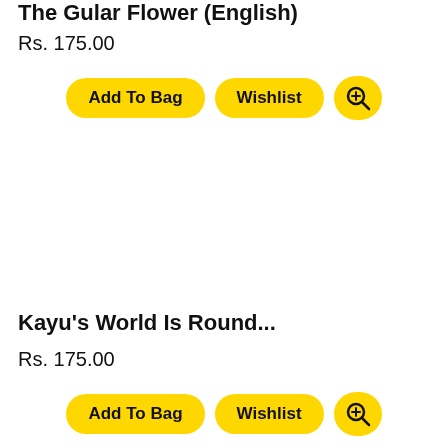The Gular Flower (English)
Rs. 175.00
[Figure (screenshot): Three yellow buttons: Add To Bag, Wishlist, and a zoom/search icon button]
[Figure (photo): Product image area (blank/white) for book]
Kayu's World Is Round...
Rs. 175.00
[Figure (screenshot): Three yellow buttons: Add To Bag, Wishlist, and a zoom/search icon button]